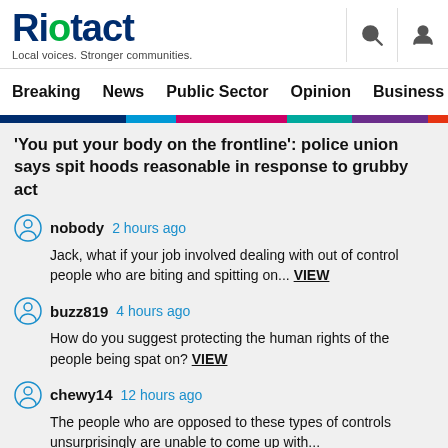Riotact — Local voices. Stronger communities.
Breaking  News  Public Sector  Opinion  Business  R
'You put your body on the frontline': police union says spit hoods reasonable in response to grubby act
nobody  2 hours ago
Jack, what if your job involved dealing with out of control people who are biting and spitting on... VIEW
buzz819  4 hours ago
How do you suggest protecting the human rights of the people being spat on? VIEW
chewy14  12 hours ago
The people who are opposed to these types of controls unsurprisingly are unable to come up with... VIEW